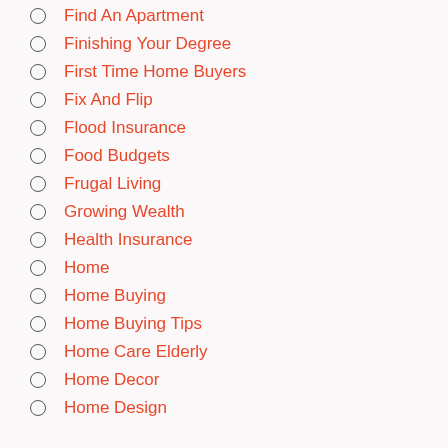Find An Apartment
Finishing Your Degree
First Time Home Buyers
Fix And Flip
Flood Insurance
Food Budgets
Frugal Living
Growing Wealth
Health Insurance
Home
Home Buying
Home Buying Tips
Home Care Elderly
Home Decor
Home Design